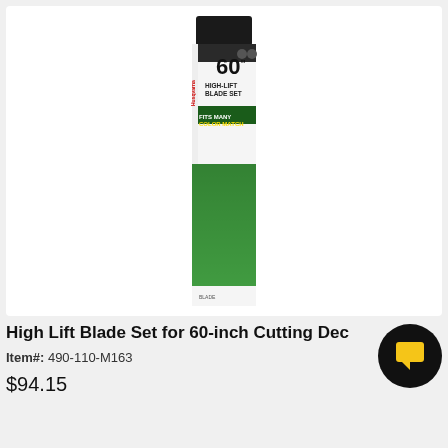[Figure (photo): Product photo of a High Lift Blade Set package for 60-inch cutting deck. Package is tall and narrow with black top, white and green gradient design, showing '60 inch HIGH-LIFT BLADE SET' text on the label.]
High Lift Blade Set for 60-inch Cutting Deck
Item#: 490-110-M163
$94.15